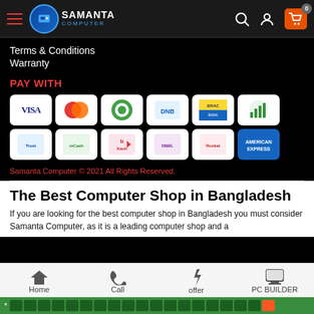[Figure (screenshot): Top navigation bar with hamburger menu, Samanta Computer logo, search icon, user icon, and orange shopping cart with badge 0]
Terms & Conditions
Warranty
PAY WITH
[Figure (infographic): Payment icons grid: Visa, Mastercard, and 10 other payment methods in two rows of 6]
Samanta Computer © 2021 All Rights Reserved.
The Best Computer Shop in Bangladesh
If you are looking for the best computer shop in Bangladesh you must consider Samanta Computer, as it is a leading computer shop and a
[Figure (infographic): Bottom navigation bar with Home, Call, offer (lightning bolt), and PC BUILDER icons]
* xxxxxxx xxxxxxxxxx xxxx xx x (green ticker bar)